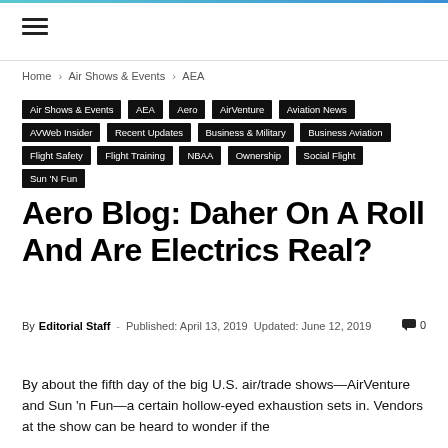≡
Home › Air Shows & Events › AEA
Air Shows & Events
AEA
Aero
AirVenture
Aviation News
AVWeb Insider
Recent Updates
Business & Military
Business Aviation
Flight Safety
Flight Training
NBAA
Ownership
Social Flight
Sun 'N Fun
Aero Blog: Daher On A Roll And Are Electrics Real?
By Editorial Staff - Published: April 13, 2019 Updated: June 12, 2019   0
By about the fifth day of the big U.S. air/trade shows—AirVenture and Sun 'n Fun—a certain hollow-eyed exhaustion sets in. Vendors at the show can be heard to wonder if the